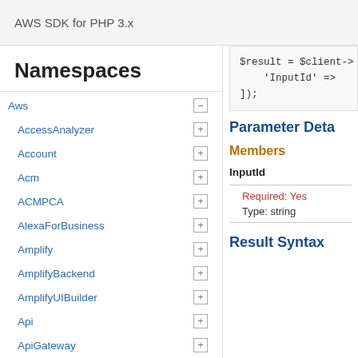AWS SDK for PHP 3.x
Namespaces
Aws
AccessAnalyzer
Account
Acm
ACMPCA
AlexaForBusiness
Amplify
AmplifyBackend
AmplifyUIBuilder
Api
ApiGateway
ApiGatewayManagementApi
$result = $client->
    'InputId' =>
]);
Parameter Deta
Members
InputId
Required: Yes
Type: string
Result Syntax